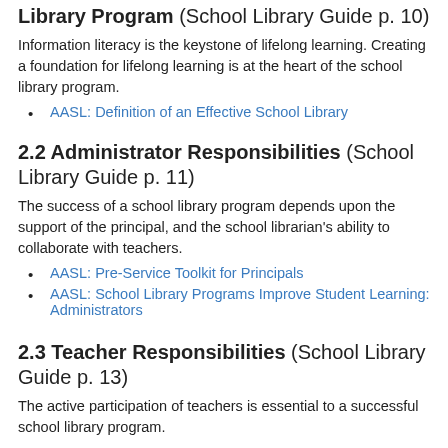Library Program (School Library Guide p. 10)
Information literacy is the keystone of lifelong learning. Creating a foundation for lifelong learning is at the heart of the school library program.
AASL: Definition of an Effective School Library
2.2 Administrator Responsibilities (School Library Guide p. 11)
The success of a school library program depends upon the support of the principal, and the school librarian's ability to collaborate with teachers.
AASL: Pre-Service Toolkit for Principals
AASL: School Library Programs Improve Student Learning: Administrators
2.3 Teacher Responsibilities (School Library Guide p. 13)
The active participation of teachers is essential to a successful school library program.